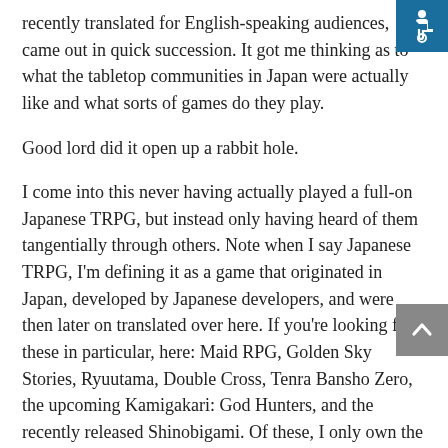recently translated for English-speaking audiences, came out in quick succession. It got me thinking as to what the tabletop communities in Japan were actually like and what sorts of games do they play.
Good lord did it open up a rabbit hole.
I come into this never having actually played a full-on Japanese TRPG, but instead only having heard of them tangentially through others. Note when I say Japanese TRPG, I'm defining it as a game that originated in Japan, developed by Japanese developers, and were then later on translated over here. If you're looking for these in particular, here: Maid RPG, Golden Sky Stories, Ryuutama, Double Cross, Tenra Bansho Zero, the upcoming Kamigakari: God Hunters, and the recently released Shinobigami. Of these, I only own the recently released Shinobigami (but if you've got a copy of Double Cross–Infinity Code hit me up) and I have to say the design differences alone are staggering.